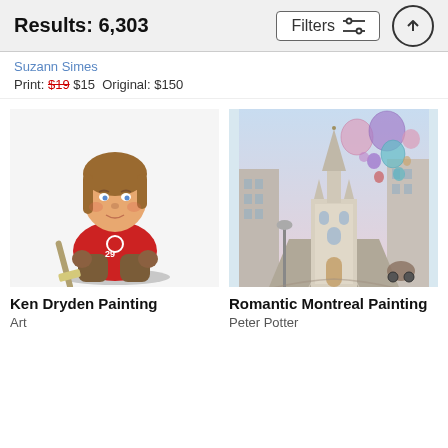Results: 6,303
Suzann Simes
Print: $19 $15  Original: $150
[Figure (illustration): Caricature illustration of Ken Dryden in Montreal Canadiens hockey goalie gear with mask and pads]
[Figure (illustration): Watercolor painting of a romantic Montreal street scene with church steeple and colorful balloons floating in the sky]
Ken Dryden Painting
Art
Romantic Montreal Painting
Peter Potter